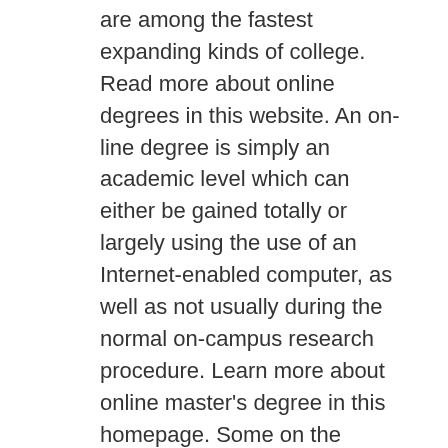are among the fastest expanding kinds of college. Read more about online degrees in this website. An on-line degree is simply an academic level which can either be gained totally or largely using the use of an Internet-enabled computer, as well as not usually during the normal on-campus research procedure. Learn more about online master's degree in this homepage. Some on the internet levels are based entirely on Internet innovation while others need little to no communication at all with real human beings. View more about online bachelor's degree in this page. With so many individuals working full time tasks and also attending institution full time, on-line programs have actually become the means of the future. Check online Classes here for more info. For those that currently have full time tasks and/or children, online training courses may be a means to enhance your education. Discover more about online college in this website. A multitude of individuals take place to gain Master's levels as well as doctorate levels